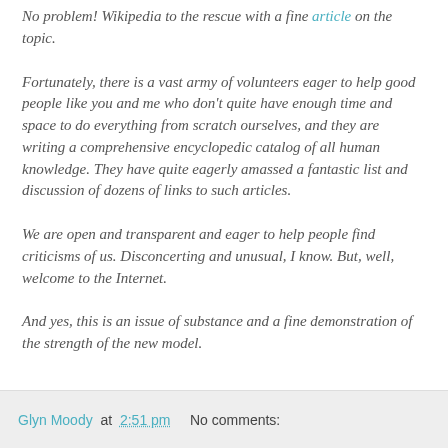No problem! Wikipedia to the rescue with a fine article on the topic.
Fortunately, there is a vast army of volunteers eager to help good people like you and me who don't quite have enough time and space to do everything from scratch ourselves, and they are writing a comprehensive encyclopedic catalog of all human knowledge. They have quite eagerly amassed a fantastic list and discussion of dozens of links to such articles.
We are open and transparent and eager to help people find criticisms of us. Disconcerting and unusual, I know. But, well, welcome to the Internet.
And yes, this is an issue of substance and a fine demonstration of the strength of the new model.
Glyn Moody at 2:51 pm   No comments: